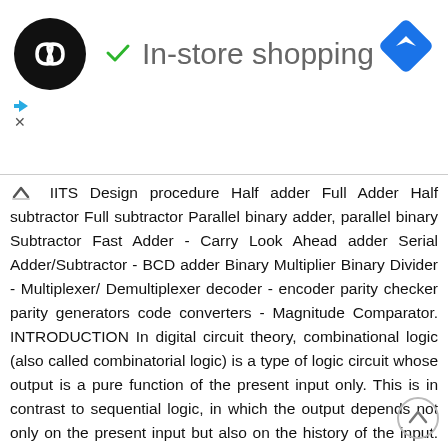[Figure (other): Advertisement banner with black circular logo with infinity-like symbol, checkmark icon, text 'In-store shopping', and a blue navigation diamond icon on the right.]
IITS Design procedure Half adder Full Adder Half subtractor Full subtractor Parallel binary adder, parallel binary Subtractor Fast Adder - Carry Look Ahead adder Serial Adder/Subtractor - BCD adder Binary Multiplier Binary Divider - Multiplexer/ Demultiplexer decoder - encoder parity checker parity generators code converters - Magnitude Comparator. INTRODUCTION In digital circuit theory, combinational logic (also called combinatorial logic) is a type of logic circuit whose output is a pure function of the present input only. This is in contrast to sequential logic, in which the output depends not only on the present input but also on the history of the input. In other words, sequential logic has memory while combinational logic does not. APPLICATIONS Combinational logic is used in computer circuits to do Boolean algebra on input signals and on stored data. Practical computer circuits normally contain a mixture of combinational and sequential logic. For example, the part of an arithmetic logic unit, or ALU, that